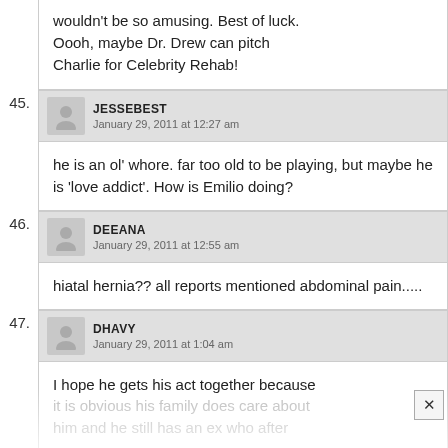wouldn't be so amusing. Best of luck. Oooh, maybe Dr. Drew can pitch Charlie for Celebrity Rehab!
45. JESSEBEST — January 29, 2011 at 12:27 am
he is an ol' whore. far too old to be playing, but maybe he is 'love addict'. How is Emilio doing?
46. DEEANA — January 29, 2011 at 12:55 am
hiatal hernia?? all reports mentioned abdominal pain.....
47. DHAVY — January 29, 2011 at 1:04 am
I hope he gets his act together because it is obvious his family does care about him and he still has an ex who after